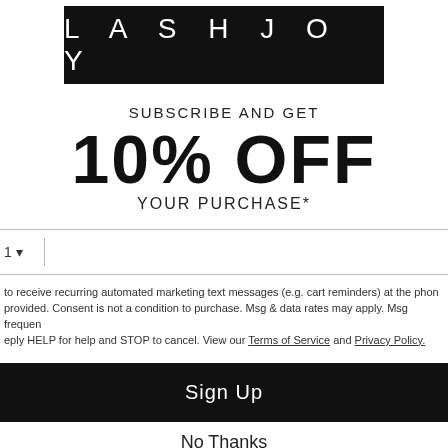[Figure (logo): LASHJOY logo in white text on black background]
SUBSCRIBE AND GET
10% OFF
YOUR PURCHASE*
1 ▾  [phone input field]
to receive recurring automated marketing text messages (e.g. cart reminders) at the phone provided. Consent is not a condition to purchase. Msg & data rates may apply. Msg frequency varies. Reply HELP for help and STOP to cancel. View our Terms of Service and Privacy Policy.
Sign Up
No Thanks